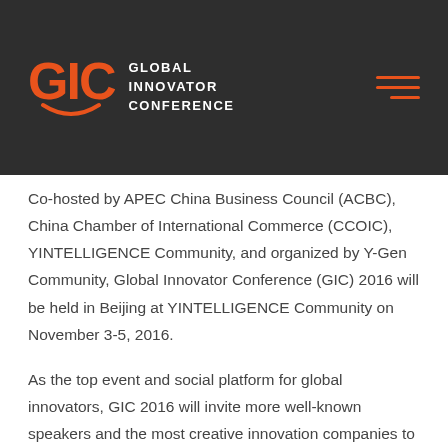[Figure (logo): GIC Global Innovator Conference logo with orange GIC letters and arc, white text on dark background, with hamburger menu icon in orange on the right]
Co-hosted by APEC China Business Council (ACBC), China Chamber of International Commerce (CCOIC), YINTELLIGENCE Community, and organized by Y-Gen Community, Global Innovator Conference (GIC) 2016 will be held in Beijing at YINTELLIGENCE Community on November 3-5, 2016.
As the top event and social platform for global innovators, GIC 2016 will invite more well-known speakers and the most creative innovation companies to join the frontier cross-industry theme activities, and to demo the dazzle technology, interactive art and super IP, etc. GIC 2016 provides innovators with not only an